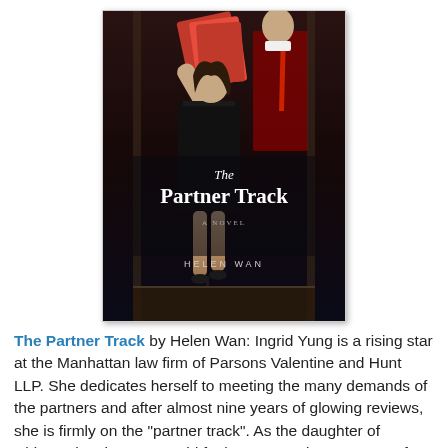[Figure (illustration): Book cover of 'The Partner Track' by Helen Wan. Dark background with a woman in a black dress holding red folders/papers, with a man in a suit partially visible behind her. White serif title text reads 'The Partner Track' with 'A Novel' subtitle and 'HELEN WAN' author name at the bottom.]
The Partner Track by Helen Wan: Ingrid Yung is a rising star at the Manhattan law firm of Parsons Valentine and Hunt LLP. She dedicates herself to meeting the many demands of the partners and after almost nine years of glowing reviews, she is firmly on the "partner track". As the daughter of Chinese immigrants, Ingrid feels a tremendous amount of responsibility to be successful in an effort to repay her